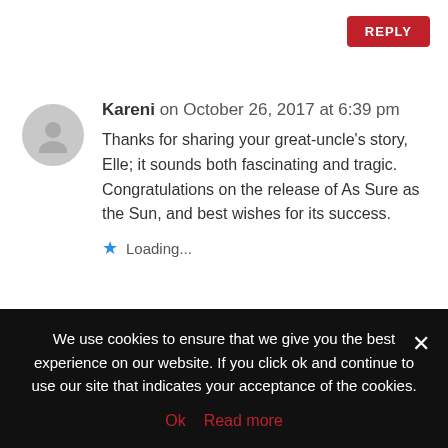REPLY
Kareni on October 26, 2017 at 6:39 pm
Thanks for sharing your great-uncle's story, Elle; it sounds both fascinating and tragic. Congratulations on the release of As Sure as the Sun, and best wishes for its success.
Loading...
REPLY
Ashley E on October 26, 2017 at 6:39 pm
We use cookies to ensure that we give you the best experience on our website. If you click ok and continue to use our site that indicates your acceptance of the cookies.
Ok   Read more